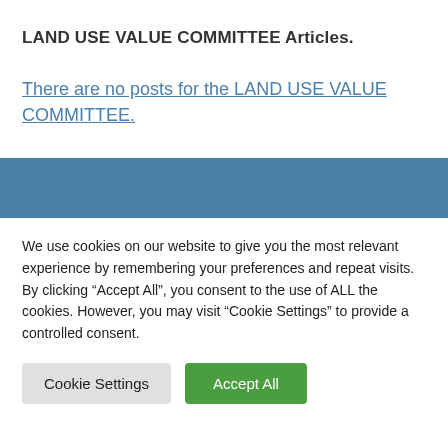LAND USE VALUE COMMITTEE Articles.
There are no posts for the LAND USE VALUE COMMITTEE.
We use cookies on our website to give you the most relevant experience by remembering your preferences and repeat visits. By clicking “Accept All”, you consent to the use of ALL the cookies. However, you may visit “Cookie Settings” to provide a controlled consent.